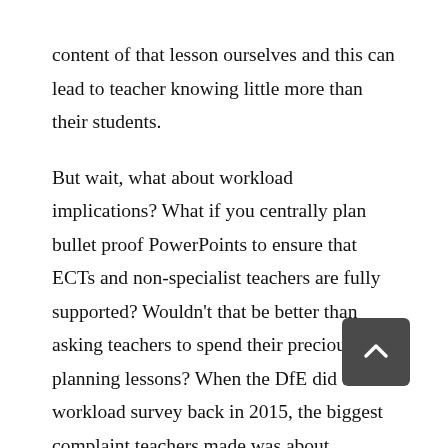content of that lesson ourselves and this can lead to teacher knowing little more than their students.

But wait, what about workload implications? What if you centrally plan bullet proof PowerPoints to ensure that ECTs and non-specialist teachers are fully supported? Wouldn't that be better than asking teachers to spend their precious time planning lessons? When the DfE did their workload survey back in 2015, the biggest complaint teachers made was about unnecessary workload. Work that feels worthwhile and meaningful is not something most people tend to object to. But still, no one wants to add to the pressure on teachers unnecessarily. It's important to remember that on one's